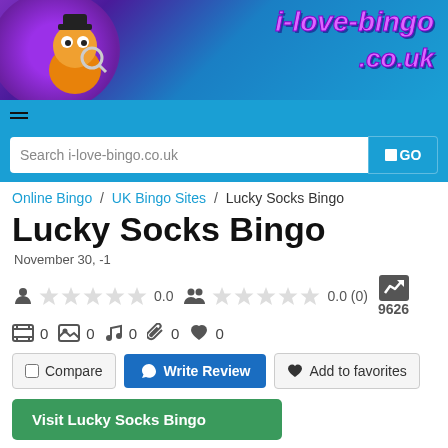[Figure (logo): i-love-bingo.co.uk website logo with cartoon character and purple/blue branding]
Search i-love-bingo.co.uk  GO
Online Bingo / UK Bingo Sites / Lucky Socks Bingo
Lucky Socks Bingo
November 30, -1
0.0   0.0 (0)   9626
0  0  0  0  0
Compare   Write Review   Add to favorites
Visit Lucky Socks Bingo
[Figure (illustration): Cartoon eyes/mascot illustration at the bottom of the page]